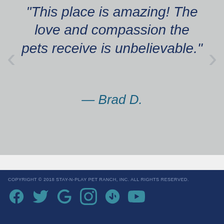"This place is amazing! The love and compassion the pets receive is unbelievable."
— Brad D.
COPYRIGHT © 2018 STAY-N-PLAY PET RANCH, INC. ALL RIGHTS RESERVED.